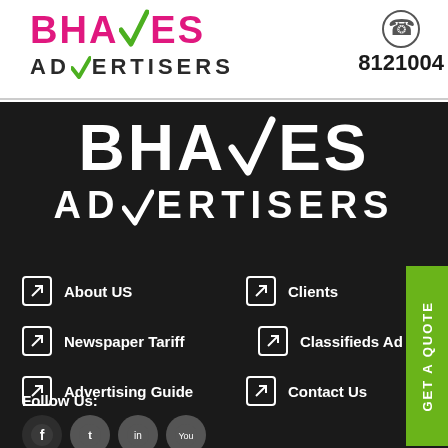[Figure (logo): BHAVES ADVERTISERS logo in pink/green on white header background]
8121004
[Figure (logo): BHAVES ADVERTISERS large white logo on dark background]
About US
Clients
Newspaper Tariff
Classifieds Ad in Newspaper
Advertising Guide
Contact Us
Follow Us:
GET A QUOTE